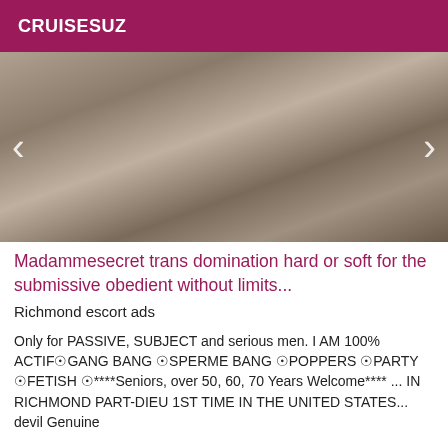CRUISESUZ
[Figure (photo): Adult content photo with navigation arrows on left and right]
Madammesecret trans domination hard or soft for the submissive obedient without limits...
Richmond escort ads
Only for PASSIVE, SUBJECT and serious men. I AM 100% ACTIF☉GANG BANG ☉SPERME BANG ☉POPPERS ☉PARTY ☉FETISH ☉****Seniors, over 50, 60, 70 Years Welcome**** ... IN RICHMOND PART-DIEU 1ST TIME IN THE UNITED STATES... devil Genuine